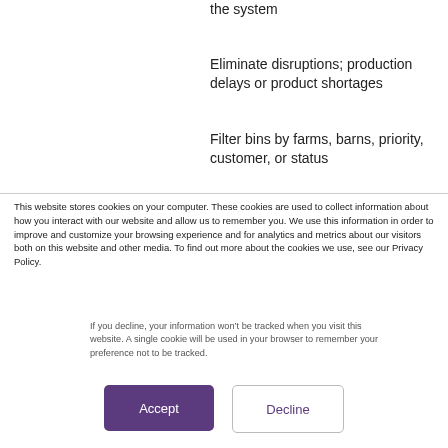the system
Eliminate disruptions; production delays or product shortages
Filter bins by farms, barns, priority, customer, or status
This website stores cookies on your computer. These cookies are used to collect information about how you interact with our website and allow us to remember you. We use this information in order to improve and customize your browsing experience and for analytics and metrics about our visitors both on this website and other media. To find out more about the cookies we use, see our Privacy Policy.
If you decline, your information won’t be tracked when you visit this website. A single cookie will be used in your browser to remember your preference not to be tracked.
Accept
Decline